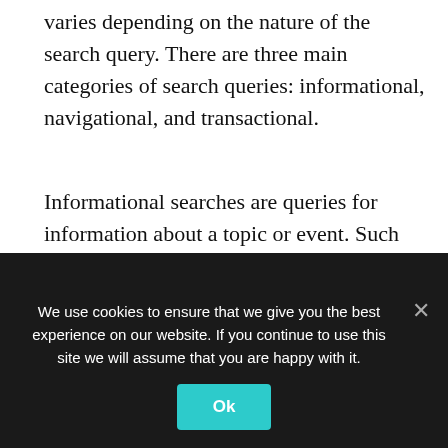varies depending on the nature of the search query. There are three main categories of search queries: informational, navigational, and transactional.
Informational searches are queries for information about a topic or event. Such questions have little commercial intent and often feature informative organic results.
On the other hand, navigation queries are searches where the user is trying to get to a particular website. Since the user is searching for something specific, getting to the top of navigational SERPs can be difficult. Thus, many individuals and businesses purchase paid ads to rank for keywords that
We use cookies to ensure that we give you the best experience on our website. If you continue to use this site we will assume that you are happy with it.